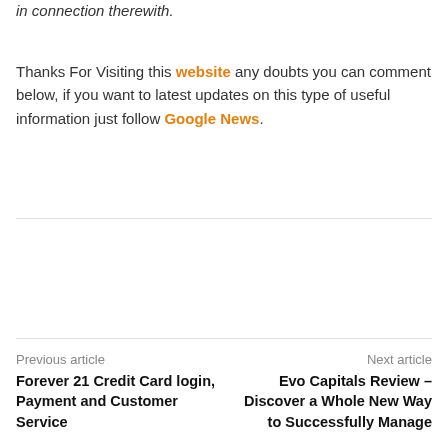in connection therewith.
Thanks For Visiting this website any doubts you can comment below, if you want to latest updates on this type of useful information just follow Google News.
Previous article
Next article
Forever 21 Credit Card login, Payment and Customer Service
Evo Capitals Review – Discover a Whole New Way to Successfully Manage